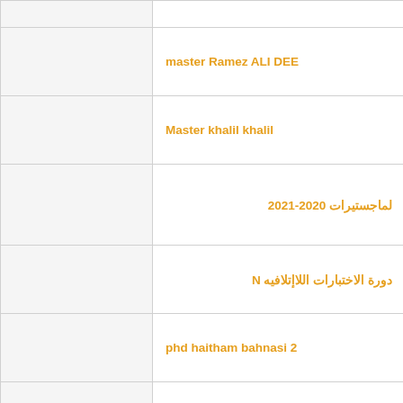|  |  |
|  | master Ramez ALI DEE |
|  | Master khalil khalil |
|  | 2021-2020 لماجستيرات |
|  | دورة الاختبارات اللاإتلافيه N |
|  | phd haitham bahnasi 2 |
|  | Visu دورة الفحص البصري |